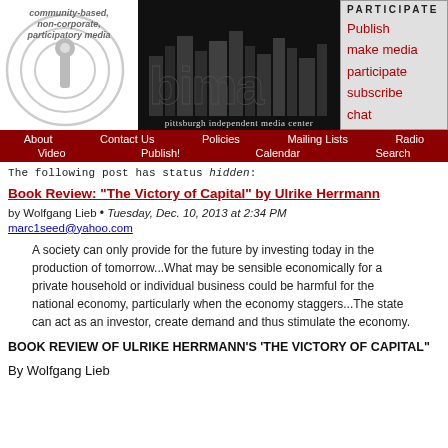[Figure (logo): Community radio/media logo with circular wave graphic, italic text: community-based, non-corporate, participatory media]
[Figure (photo): Pittsburgh Independent Media Center banner with city skyline silhouette in black and white]
[Figure (other): PARTICIPATE navigation box with links: Publish, make media, participate, subscribe, chat]
About | Contact Us | Policies | Mailing Lists | Radio | Video | Publish! | Calendar | Search
The following post has status hidden:
Book Review: "The Victory of Capital" by Ulrike Herrmann
by Wolfgang Lieb • Tuesday, Dec. 10, 2013 at 2:34 PM
marc1seed@yahoo.com
A society can only provide for the future by investing today in the production of tomorrow...What may be sensible economically for a private household or individual business could be harmful for the national economy, particularly when the economy staggers...The state can act as an investor, create demand and thus stimulate the economy.
BOOK REVIEW OF ULRIKE HERRMANN’S ‘THE VICTORY OF CAPITAL"
By Wolfgang Lieb